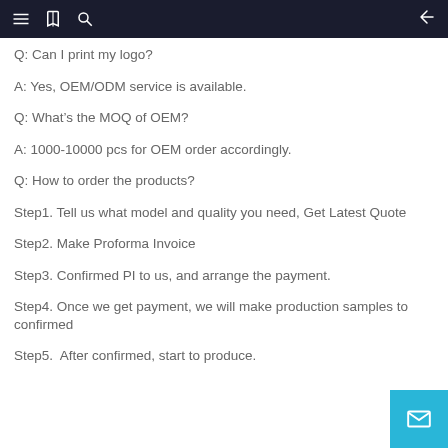navigation bar with menu, bookmark, search, and back icons
Q: Can I print my logo?
A: Yes, OEM/ODM service is available.
Q: What's the MOQ of OEM?
A: 1000-10000 pcs for OEM order accordingly.
Q: How to order the products?
Step1. Tell us what model and quality you need, Get Latest Quote
Step2. Make Proforma Invoice
Step3. Confirmed PI to us, and arrange the payment.
Step4. Once we get payment, we will make production samples to confirmed
Step5.  After confirmed, start to produce.